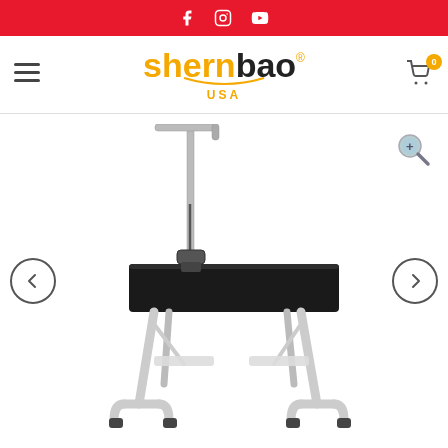Social media icons bar (Facebook, Instagram, YouTube) on red background
[Figure (logo): Shernbao USA logo with hamburger menu and cart icon]
[Figure (photo): Pet grooming table with black top surface, stainless steel folding legs, and an adjustable grooming arm with noose. Navigation arrows on left and right, zoom icon top right.]